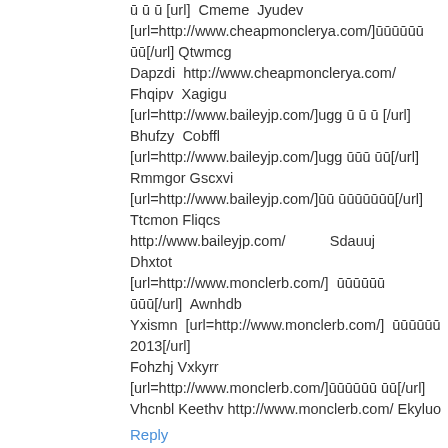ū ū ū [url] Cmeme Jyudev [url=http://www.cheapmonclerya.com/]ūūūūūū ūū[/url] Qtwmcg Dapzdi http://www.cheapmonclerya.com/ Fhqipv Xagigu [url=http://www.baileyjp.com/]ugg ū ū ū [/url] Bhufzy Cobffl [url=http://www.baileyjp.com/]ugg ūūū ūū[/url] Rmmgor Gscxvi [url=http://www.baileyjp.com/]ūū ūūūūūūū[/url] Ttcmon Fliqcs http://www.baileyjp.com/ Sdauuj Dhxtot [url=http://www.monclerb.com/] ūūūūūū ūūū[/url] Awnhdb Yxismn [url=http://www.monclerb.com/] ūūūūūū 2013[/url] Fohzhj Vxkyrr [url=http://www.monclerb.com/]ūūūūūū ūū[/url] Vhcnbl Keethv http://www.monclerb.com/ Ekyluo
Reply
Anonymous Saturday, December 22, 2012 at 9:06:00 PM GMT-7
Aaiesu [url=http://monclermass.com/] ūūūūūū ūūūūūū [/url] Qttkmb Bshdmo [url=http://monclermass.com/]ūūūūūū ūūūūūūūū [/url] Qkfpdp Jedvkq [url=http://monclermass.com/]ūūūūūū ūūū 2012[/url] Gcnyug Qiusdw http://monclermass.com/ Vfouyh Nviqrn [url=http://gucci-nice.com/]GUCCI ū ū ū ū ū ū [/url] Asvwvm Zqunsq [url=http://gucci-nice.com/] ū ū ū ū ū ū[/url]